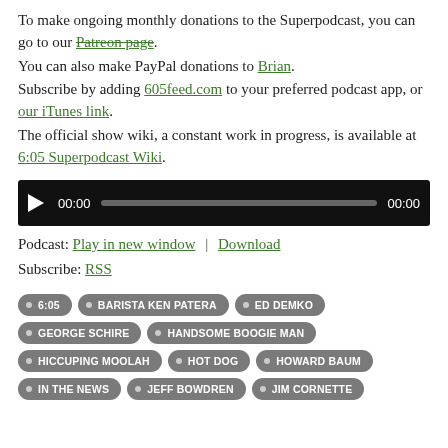To make ongoing monthly donations to the Superpodcast, you can go to our Patreon page. You can also make PayPal donations to Brian. Subscribe by adding 605feed.com to your preferred podcast app, or our iTunes link. The official show wiki, a constant work in progress, is available at 6:05 Superpodcast Wiki.
[Figure (other): Audio player widget with play button, time display (00:00), progress bar, and duration (00:00) on black background.]
Podcast: Play in new window | Download
Subscribe: RSS
6:05
BARISTA KEN PATERA
ED DEMKO
GEORGE SCHIRE
HANDSOME BOOGIE MAN
HICCUPING MOOLAH
HOT DOG
HOWARD BAUM
IN THE NEWS
JEFF BOWDREN
JIM CORNETTE